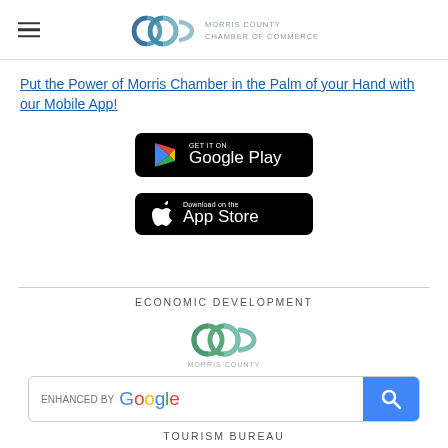Morris County Chamber of Commerce
Put the Power of Morris Chamber in the Palm of your Hand with our Mobile App!
[Figure (logo): Google Play Store badge - black rounded rectangle with Google Play triangle logo and text 'GET IT ON Google Play']
[Figure (logo): Apple App Store badge - black rounded rectangle with Apple logo and text 'Download on the App Store']
ECONOMIC DEVELOPMENT
[Figure (logo): Morris County Chamber of Commerce logo - stylized green/teal interlocking circles]
MORRIS COUNTY
[Figure (screenshot): Google search bar enhanced by Google with blue search button]
TOURISM BUREAU